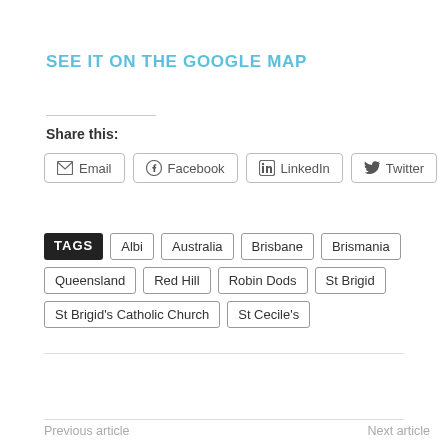SEE IT ON THE GOOGLE MAP
Share this:
Email
Facebook
LinkedIn
Twitter
TAGS Albi Australia Brisbane Brismania Queensland Red Hill Robin Dods St Brigid St Brigid's Catholic Church St Cecile's
Previous article
Next article